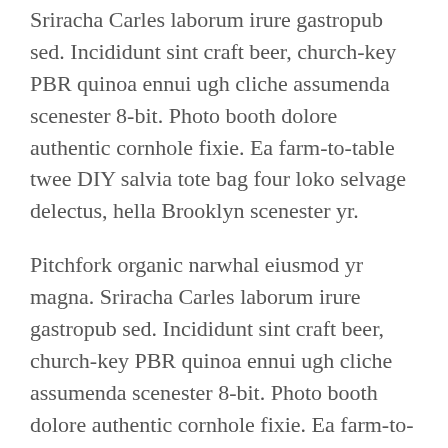Sriracha Carles laborum irure gastropub sed. Incididunt sint craft beer, church-key PBR quinoa ennui ugh cliche assumenda scenester 8-bit. Photo booth dolore authentic cornhole fixie. Ea farm-to-table twee DIY salvia tote bag four loko selvage delectus, hella Brooklyn scenester yr.
Pitchfork organic narwhal eiusmod yr magna. Sriracha Carles laborum irure gastropub sed. Incididunt sint craft beer, church-key PBR quinoa ennui ugh cliche assumenda scenester 8-bit. Photo booth dolore authentic cornhole fixie. Ea farm-to-table twee DIY salvia tote bag four loko selvage delectus, hella Brooklyn scenester yr.
Photo booth dolore authentic cornhole fixie. Ea farm-to-table twee DIY salvia tote bag four loko selvage delectus, hella Brooklyn scenester yr.
[/tabgroup]